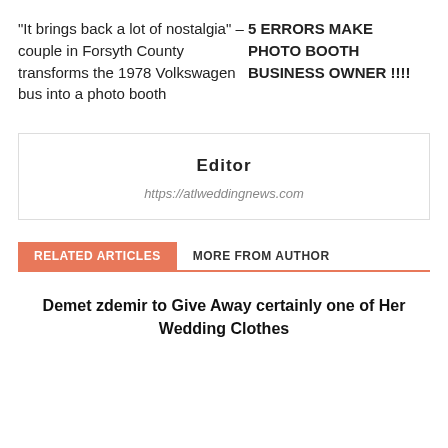“It brings back a lot of nostalgia” – couple in Forsyth County transforms the 1978 Volkswagen bus into a photo booth
5 ERRORS MAKE PHOTO BOOTH BUSINESS OWNER !!!!
Editor
https://atlweddingnews.com
RELATED ARTICLES	MORE FROM AUTHOR
Demet zdemir to Give Away certainly one of Her Wedding Clothes